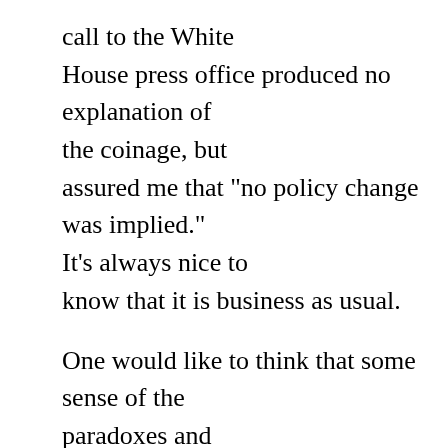call to the White House press office produced no explanation of the coinage, but assured me that "no policy change was implied." It's always nice to know that it is business as usual.

One would like to think that some sense of the paradoxes and complications of the term "human rights" had come home to the administration, and that in consequence it was on its way to even more qualifications: perhaps "human, political, economic, legal,